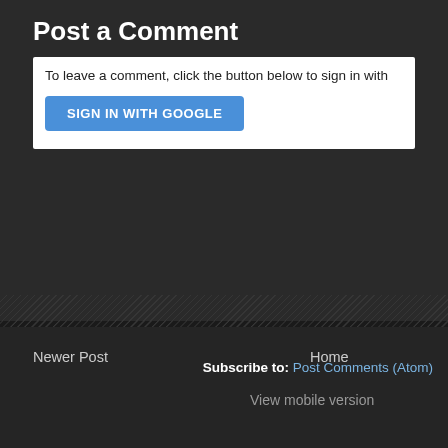Post a Comment
To leave a comment, click the button below to sign in with
[Figure (screenshot): Blue 'SIGN IN WITH GOOGLE' button]
Newer Post
Home
View mobile version
Subscribe to: Post Comments (Atom)